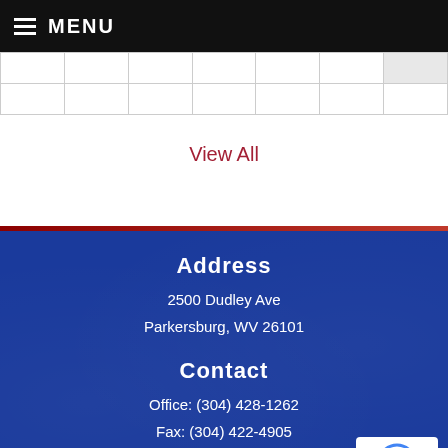MENU
|  |  |  |  |  |  |  |
|  |  |  |  |  |  |  |
View All
Address
2500 Dudley Ave
Parkersburg, WV 26101
Contact
Office: (304) 428-1262
Fax: (304) 422-4905
Giving